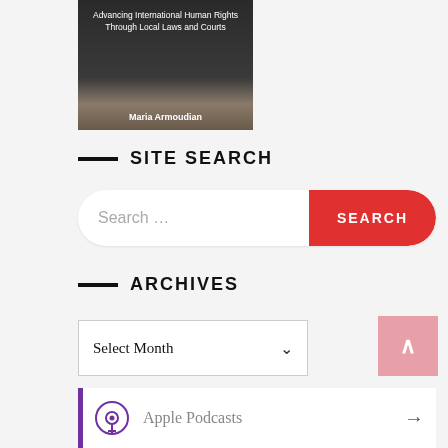[Figure (illustration): Book cover for a legal/human rights book titled 'Advancing International Human Rights Through Local Laws and Courts' by Maria Armoudian, dark background with stone imagery]
SITE SEARCH
[Figure (screenshot): Search bar with placeholder text 'Search ...' and a red SEARCH button on the right]
ARCHIVES
[Figure (screenshot): Dropdown select box showing 'Select Month' with a down arrow]
SUBSCRIBE TO PODCAST
[Figure (screenshot): Podcast subscription card with Apple Podcasts label and podcast icon, right arrow, pink back-to-top button in corner]